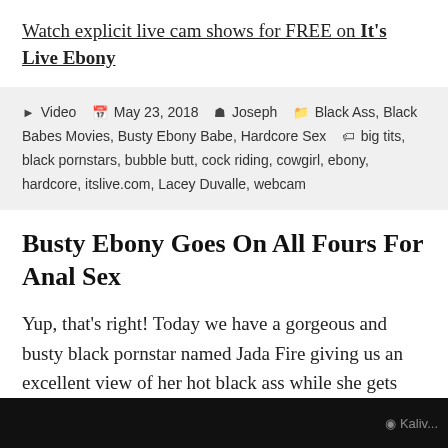Watch explicit live cam shows for FREE on It's Live Ebony
▶ Video  📅 May 23, 2018  👤 Joseph  🗂 Black Ass, Black Babes Movies, Busty Ebony Babe, Hardcore Sex  🏷 big tits, black pornstars, bubble butt, cock riding, cowgirl, ebony, hardcore, itslive.com, Lacey Duvalle, webcam
Busty Ebony Goes On All Fours For Anal Sex
Yup, that's right! Today we have a gorgeous and busty black pornstar named Jada Fire giving us an excellent view of her hot black ass while she gets her asshole fucked by a big black cock.
[Figure (photo): Bottom strip showing a dark/black partial thumbnail image with a circular logo overlay on the right side]